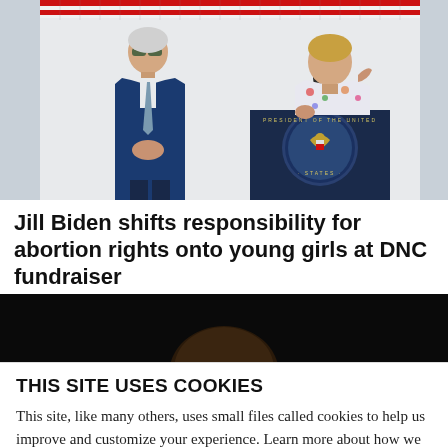[Figure (photo): Two people at an outdoor event. A man in a blue suit with sunglasses stands on the left. A woman in a floral dress speaks at a podium bearing the Presidential Seal on the right. American flag bunting visible at top.]
Jill Biden shifts responsibility for abortion rights onto young girls at DNC fundraiser
[Figure (photo): Partially visible dark image, mostly obscured by cookie consent overlay.]
THIS SITE USES COOKIES
This site, like many others, uses small files called cookies to help us improve and customize your experience. Learn more about how we use cookies in our cookie policy.
Learn more about cookies
OK